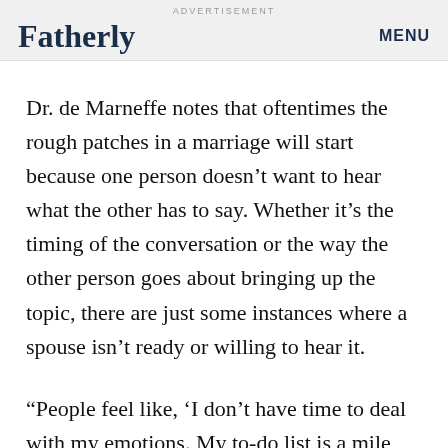ADVERTISEMENT
Fatherly
MENU
Dr. de Marneffe notes that oftentimes the rough patches in a marriage will start because one person doesn't want to hear what the other has to say. Whether it's the timing of the conversation or the way the other person goes about bringing up the topic, there are just some instances where a spouse isn't ready or willing to hear it.
“People feel like, ‘I don’t have time to deal with my emotions. My to-do list is a mile long!’” she explains,